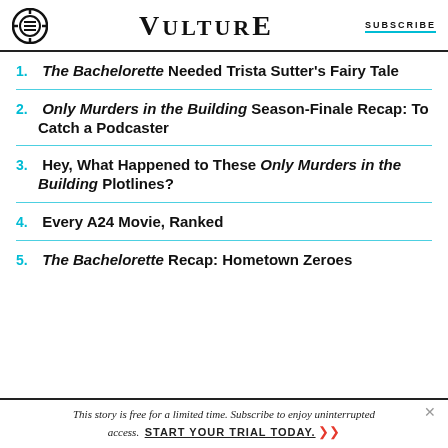VULTURE | SUBSCRIBE
1. The Bachelorette Needed Trista Sutter's Fairy Tale
2. Only Murders in the Building Season-Finale Recap: To Catch a Podcaster
3. Hey, What Happened to These Only Murders in the Building Plotlines?
4. Every A24 Movie, Ranked
5. The Bachelorette Recap: Hometown Zeroes
This story is free for a limited time. Subscribe to enjoy uninterrupted access. START YOUR TRIAL TODAY.